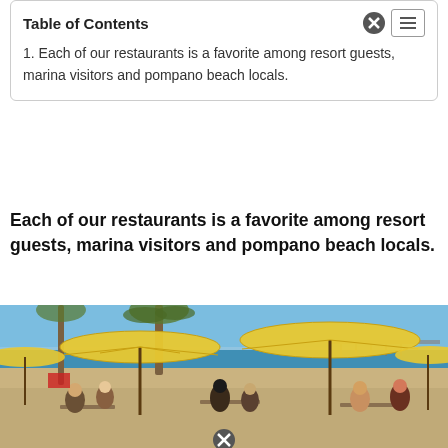Table of Contents
1. Each of our restaurants is a favorite among resort guests, marina visitors and pompano beach locals.
Each of our restaurants is a favorite among resort guests, marina visitors and pompano beach locals.
[Figure (photo): Outdoor beachside restaurant seating area with yellow umbrellas, patrons dining, palm trees, ocean, pier visible in background at Pompano Beach.]